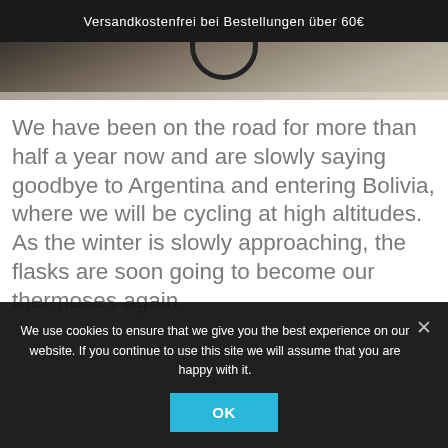Versandkostenfrei bei Bestellungen über 60€
[Figure (photo): Partial view of a bicycle on a gravel/dirt road, cropped showing the bottom portion of the bike and ground]
We have been on the road for more than half a year now and are slowly saying goodbye to Argentina and entering Bolivia, where we will be cycling at high altitudes. As the winter is slowly approaching, the flasks are soon going to become our thermoses again.
We use cookies to ensure that we give you the best experience on our website. If you continue to use this site we will assume that you are happy with it.